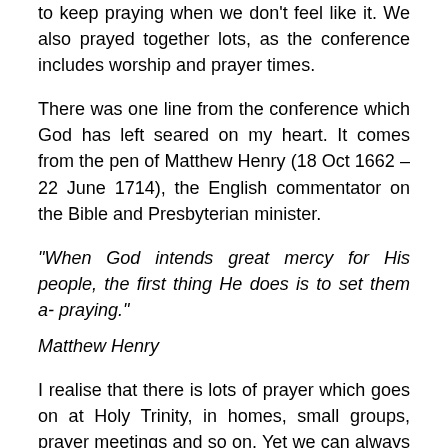to keep praying when we don't feel like it. We also prayed together lots, as the conference includes worship and prayer times.
There was one line from the conference which God has left seared on my heart. It comes from the pen of Matthew Henry (18 Oct 1662 – 22 June 1714), the English commentator on the Bible and Presbyterian minister.
“When God intends great mercy for His people, the first thing He does is to set them a- praying.”
Matthew Henry
I realise that there is lots of prayer which goes on at Holy Trinity, in homes, small groups, prayer meetings and so on. Yet we can always engage more regularly and passionately together with God in prayer. Just recently,